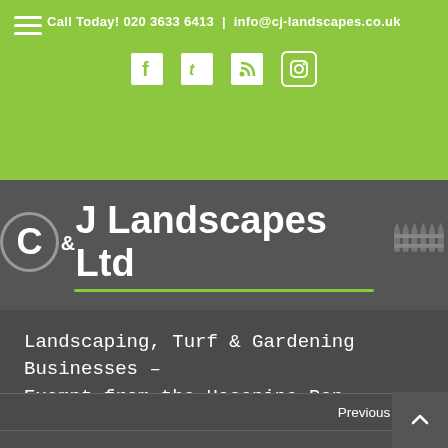Call Today! 020 3633 6413 | info@cj-landscapes.co.uk
[Figure (logo): C&J Landscapes Ltd logo with circular C emblem, white text on dark grey background, green underline bar and fence graphic]
Landscaping, Turf & Gardening Businesses – Exempt from the Hosepipe Ban
Previous   Next